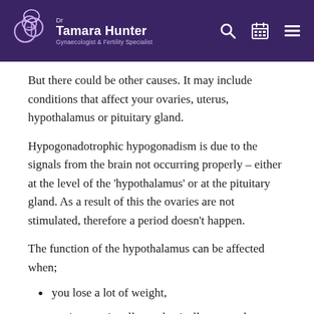Dr Tamara Hunter – Gynaecologist & Fertility Specialist
But there could be other causes. It may include conditions that affect your ovaries, uterus, hypothalamus or pituitary gland.
Hypogonadotrophic hypogonadism is due to the signals from the brain not occurring properly – either at the level of the 'hypothalamus' or at the pituitary gland. As a result of this the ovaries are not stimulated, therefore a period doesn't happen.
The function of the hypothalamus can be affected when;
you lose a lot of weight,
you're emotionally or physically stressed
you exercise in an excessive way